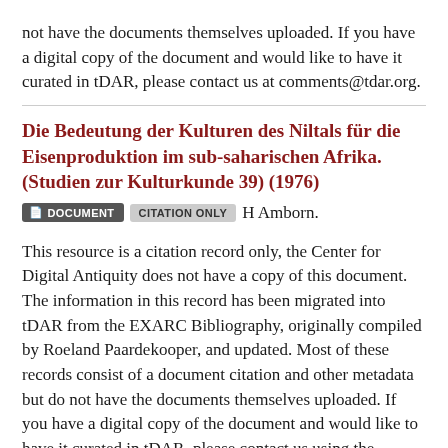not have the documents themselves uploaded. If you have a digital copy of the document and would like to have it curated in tDAR, please contact us at comments@tdar.org.
Die Bedeutung der Kulturen des Niltals für die Eisenproduktion im sub-saharischen Afrika. (Studien zur Kulturkunde 39) (1976)
DOCUMENT  CITATION ONLY  H Amborn.
This resource is a citation record only, the Center for Digital Antiquity does not have a copy of this document. The information in this record has been migrated into tDAR from the EXARC Bibliography, originally compiled by Roeland Paardekooper, and updated. Most of these records consist of a document citation and other metadata but do not have the documents themselves uploaded. If you have a digital copy of the document and would like to have it curated in tDAR, please contact us using the...
Eisenhütten in Afrika. Beschreibung eines